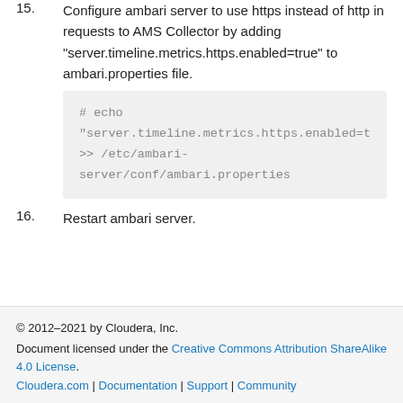15. Configure ambari server to use https instead of http in requests to AMS Collector by adding "server.timeline.metrics.https.enabled=true" to ambari.properties file.
# echo "server.timeline.metrics.https.enabled=true" >> /etc/ambari-server/conf/ambari.properties
16. Restart ambari server.
© 2012–2021 by Cloudera, Inc. Document licensed under the Creative Commons Attribution ShareAlike 4.0 License. Cloudera.com | Documentation | Support | Community